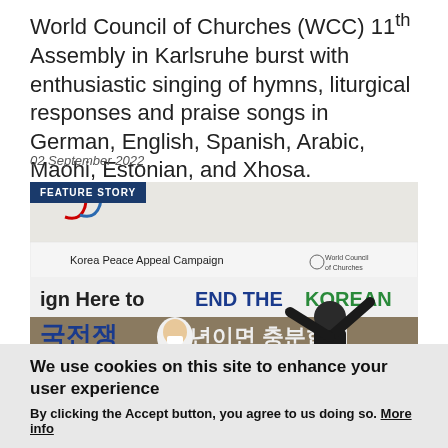World Council of Churches (WCC) 11th Assembly in Karlsruhe burst with enthusiastic singing of hymns, liturgical responses and praise songs in German, English, Spanish, Arabic, Maohi, Estonian, and Xhosa.
02 September 2022
[Figure (photo): Photo of a Korea Peace Appeal Campaign booth with a white banner reading 'Sign Here to END THE KOREAN' and Korean text below. Two people are visible setting up the banner at what appears to be an outdoor event. A World Council of Churches logo is visible on the banner.]
We use cookies on this site to enhance your user experience
By clicking the Accept button, you agree to us doing so. More info